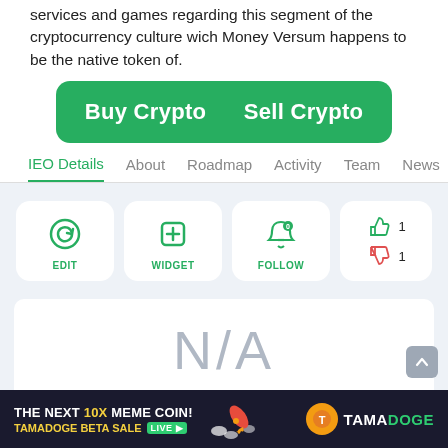services and games regarding this segment of the cryptocurrency culture wich Money Versum happens to be the native token of.
[Figure (other): Green rounded button bar with 'Buy Crypto' and 'Sell Crypto' buttons]
IEO Details
About
Roadmap
Activity
Team
News
[Figure (other): Edit icon card with circular arrows icon]
[Figure (other): Widget icon card with plus in box icon]
[Figure (other): Follow icon card with bell icon showing 0]
[Figure (other): Thumbs up (1) and thumbs down (1) voting card]
N/A
[Figure (other): Tamadoge advertisement banner: THE NEXT 10X MEME COIN! TAMADOGE BETA SALE LIVE]